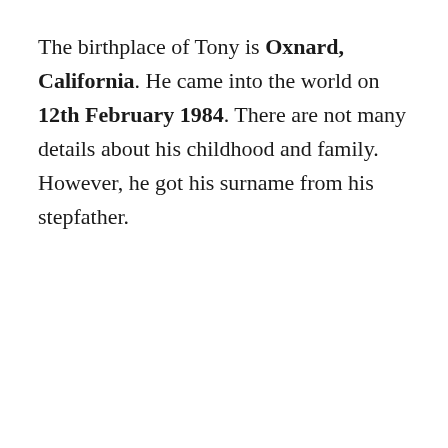The birthplace of Tony is Oxnard, California. He came into the world on 12th February 1984. There are not many details about his childhood and family. However, he got his surname from his stepfather.